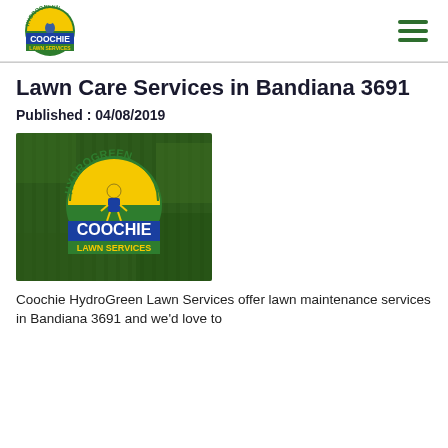[Figure (logo): Coochie HydroGreen Lawn Services logo — circular badge with kangaroo figure, green and yellow text 'HYDROGREEN', blue rectangle with white text 'COOCHIE', green bar with yellow text 'LAWN SERVICES']
Lawn Care Services in Bandiana 3691
Published : 04/08/2019
[Figure (photo): Photo of a green lawn background with the Coochie HydroGreen Lawn Services logo displayed in the center: circular green/yellow badge with kangaroo, blue rectangle saying COOCHIE in white, green bar saying LAWN SERVICES in yellow]
Coochie HydroGreen Lawn Services offer lawn maintenance services in Bandiana 3691 and we'd love to